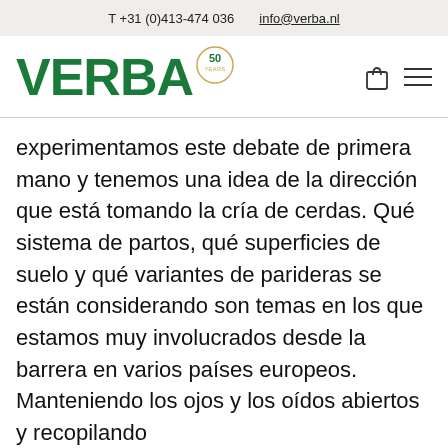T +31 (0)413-474 036  info@verba.nl
[Figure (logo): VERBA logo in green bold text with a '50 YEARS' anniversary badge circle, plus shopping bag and hamburger menu icons]
experimentamos este debate de primera mano y tenemos una idea de la dirección que está tomando la cría de cerdas. Qué sistema de partos, qué superficies de suelo y qué variantes de parideras se están considerando son temas en los que estamos muy involucrados desde la barrera en varios países europeos. Manteniendo los ojos y los oídos abiertos y recopilando